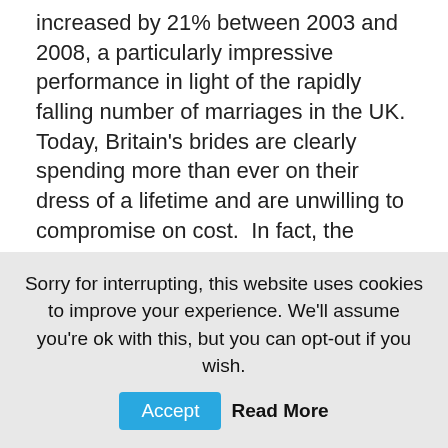increased by 21% between 2003 and 2008, a particularly impressive performance in light of the rapidly falling number of marriages in the UK.  Today, Britain's brides are clearly spending more than ever on their dress of a lifetime and are unwilling to compromise on cost.  In fact, the bridalwear industry is growing faster than overall womenswear, which grew just 16% over the same five year period.
What is more, despite the economic downturn, sales of wedding dresses are set to continue to grow as Britain's brides remain committed to wearing the dress of their dreams.  Indeed, by 2013 brides will be splashing out no less than £153 million on their dresses alone, an increase of around 30% over the same period.
Sorry for interrupting, this website uses cookies to improve your experience. We'll assume you're ok with this, but you can opt-out if you wish.  Accept  Read More